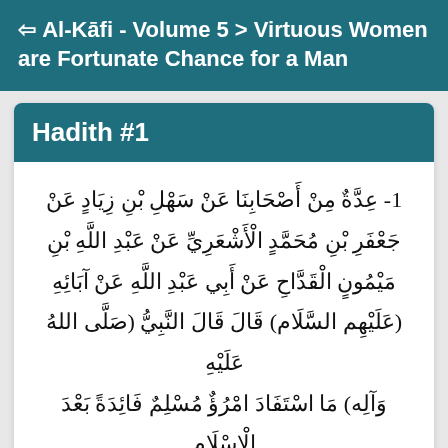← Al-Kāfi - Volume 5 > Virtuous Women are Fortunate Chance for a Man
Hadith #1
1- عِدَّةٌ مِنْ أَصْحَابِنَا عَنْ سَهْلِ بْنِ زِيَادٍ عَنْ جَعْفَرِ بْنِ مُحَمَّدٍ الْأَشْعَرِيِّ عَنْ عَبْدِ اللَّهِ بْنِ مَيْمُونٍ الْقَدَّاحِ عَنْ أَبِي عَبْدِ اللَّهِ عَنْ آبَائِهِ (عَلَيْهِم السَّلَام) قَالَ قَالَ النَّبِيُّ (صَلَّى اللهُ عَلَيْهِ وَآلِه) مَا اسْتَفَادَ امْرُؤٌ مُسْلِمٌ فَائِدَةً بَعْدَ الْإِسْلَامِ أَفْضَلَ مِنْ زَوْجَةٍ مُسْلِمَةٍ تَسُرُّهُ إِذَا نَظَرَ إِلَيْهَا